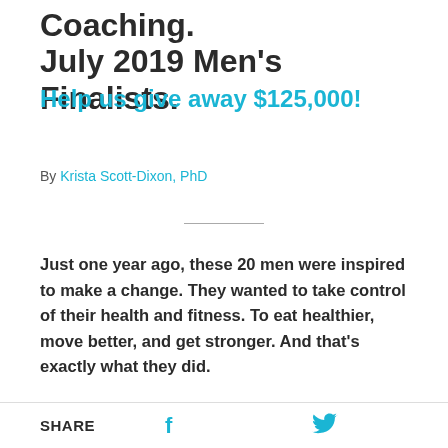Coaching. July 2019 Men's Finalists.
Help us give away $125,000!
By Krista Scott-Dixon, PhD
Just one year ago, these 20 men were inspired to make a change. They wanted to take control of their health and fitness. To eat healthier, move better, and get stronger. And that's exactly what they did.
SHARE